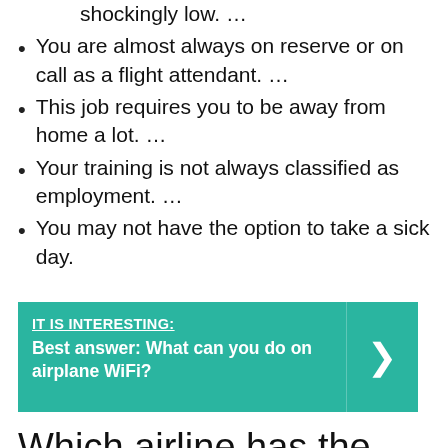shockingly low. …
You are almost always on reserve or on call as a flight attendant. …
This job requires you to be away from home a lot. …
Your training is not always classified as employment. …
You may not have the option to take a sick day.
IT IS INTERESTING: Best answer: What can you do on airplane WiFi?
Which airline has the highest paid flight attendants?